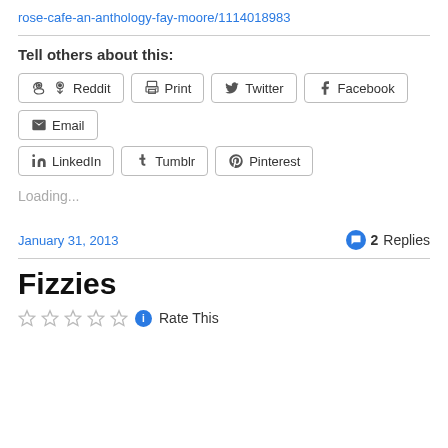rose-cafe-an-anthology-fay-moore/1114018983
Tell others about this:
Reddit  Print  Twitter  Facebook  Email  LinkedIn  Tumblr  Pinterest
Loading...
January 31, 2013
2 Replies
Fizzies
Rate This